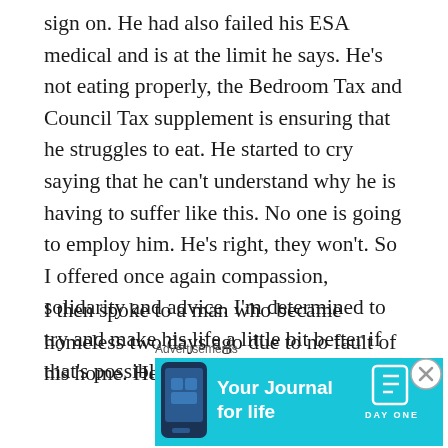sign on. He had also failed his ESA medical and is at the limit he says. He's not eating properly, the Bedroom Tax and Council Tax supplement is ensuring that he struggles to eat. He started to cry saying that he can't understand why he is having to suffer like this. No one is going to employ him. He's right, they won't. So I offered once again compassion, solidarity and advice. I'm determined to try and make his life a little bit better if that's possible.
I then spoke to a man who became homeless two days ago due to no fault of his home. He
Advertisements
[Figure (screenshot): Advertisement banner for Day One journal app on a cyan/teal background, showing a phone image on the left, 'Your Journal for life' text in bold white, and the Day One logo on the right.]